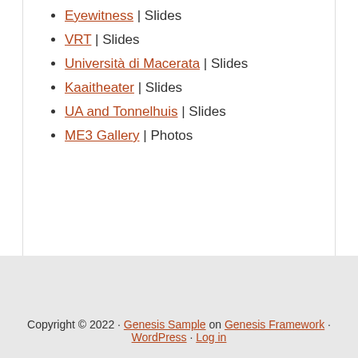Eyewitness | Slides
VRT | Slides
Università di Macerata | Slides
Kaaitheater | Slides
UA and Tonnelhuis | Slides
ME3 Gallery | Photos
Copyright © 2022 · Genesis Sample on Genesis Framework · WordPress · Log in